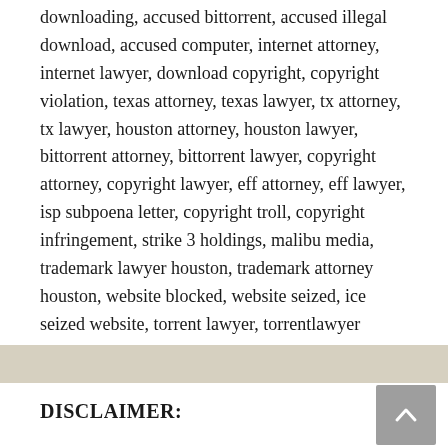downloading, accused bittorrent, accused illegal download, accused computer, internet attorney, internet lawyer, download copyright, copyright violation, texas attorney, texas lawyer, tx attorney, tx lawyer, houston attorney, houston lawyer, bittorrent attorney, bittorrent lawyer, copyright attorney, copyright lawyer, eff attorney, eff lawyer, isp subpoena letter, copyright troll, copyright infringement, strike 3 holdings, malibu media, trademark lawyer houston, trademark attorney houston, website blocked, website seized, ice seized website, torrent lawyer, torrentlawyer
DISCLAIMER: